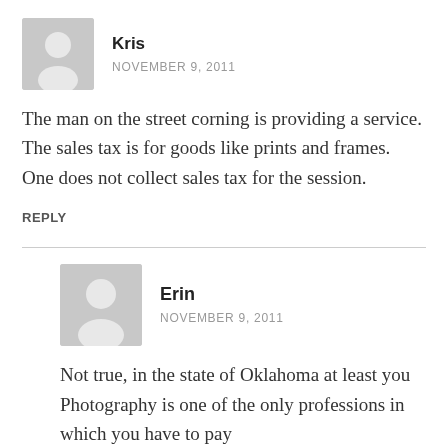[Figure (illustration): Gray avatar placeholder icon for user Kris]
Kris
NOVEMBER 9, 2011
The man on the street corning is providing a service. The sales tax is for goods like prints and frames. One does not collect sales tax for the session.
REPLY
[Figure (illustration): Gray avatar placeholder icon for user Erin]
Erin
NOVEMBER 9, 2011
Not true, in the state of Oklahoma at least you Photography is one of the only professions in which you have to pay